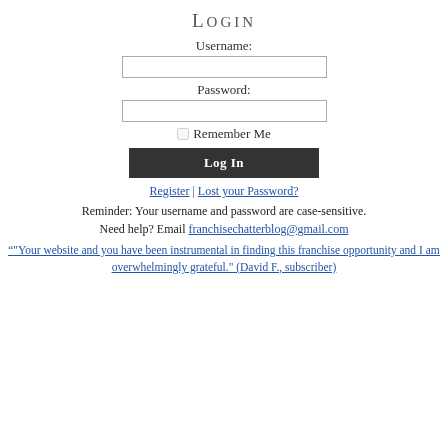Login
Username:
Password:
Remember Me
Log In
Register | Lost your Password?
Reminder: Your username and password are case-sensitive.
Need help? Email franchisechatterblog@gmail.com
“"Your website and you have been instrumental in finding this franchise opportunity and I am overwhelmingly grateful." (David F., subscriber)